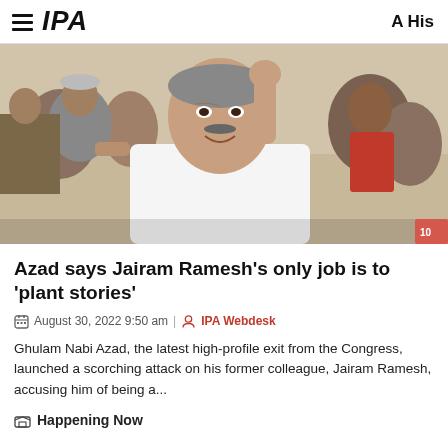IPA | A His
[Figure (photo): Photo of Ghulam Nabi Azad, an older man in white kurta with hand raised, surrounded by people, smiling]
Azad says Jairam Ramesh's only job is to 'plant stories'
August 30, 2022 9:50 am | IPA Webdesk
Ghulam Nabi Azad, the latest high-profile exit from the Congress, launched a scorching attack on his former colleague, Jairam Ramesh, accusing him of being a...
Happening Now